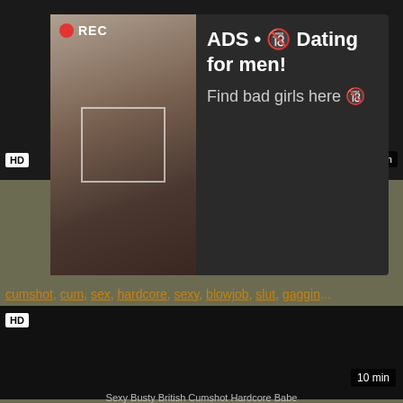[Figure (screenshot): Dark video thumbnail placeholder at top with HD badge and duration badge showing partial content]
[Figure (infographic): Ad overlay with photo of woman taking selfie with REC indicator and camera frame, overlaid with dark panel showing text: ADS • Dating for men! Find bad girls here]
cumshot, cum, sex, hardcore, sexy, blowjob, slut, gaggin...
[Figure (screenshot): Dark video thumbnail for Sexy Busty British Cumshot Hardcore Babe video with HD badge and 10 min duration]
Sexy Busty British Cumshot Hardcore Babe